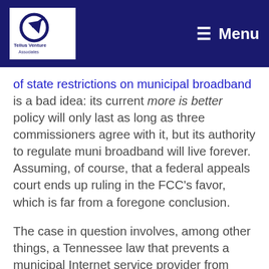[Figure (logo): Tellus Venture Associates logo with arrow graphic on white background in dark navy header]
Menu
of state restrictions on municipal broadband is a bad idea: its current more is better policy will only last as long as three commissioners agree with it, but its authority to regulate muni broadband will live forever. Assuming, of course, that a federal appeals court ends up ruling in the FCC's favor, which is far from a foregone conclusion.
The case in question involves, among other things, a Tennessee law that prevents a municipal Internet service provider from